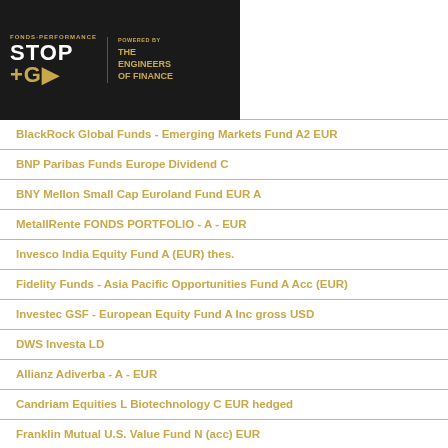International Technology Portf. A EUR
BlackRock Global Funds - Emerging Markets Fund A2 EUR
BNP Paribas Funds Europe Dividend C
BNY Mellon Small Cap Euroland Fund EUR A
MetallRente FONDS PORTFOLIO - A - EUR
Invesco India Equity Fund A (EUR) thes.
Fidelity Funds - Asia Pacific Opportunities Fund A Acc (EUR)
Investec GSF - European Equity Fund A Inc gross USD
DWS Investa LD
Allianz Adiverba - A - EUR
Candriam Equities L Biotechnology C EUR hedged
Franklin Mutual U.S. Value Fund N (acc) EUR
AS SICAV I - Asian Smaller Companies Fund A Ainc EUR